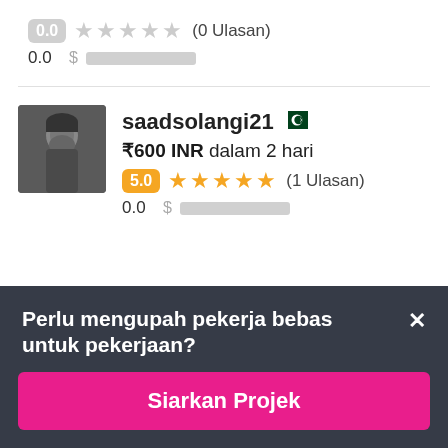0.0 ★★★★★ (0 Ulasan)
0.0 $▓▓▓▓▓▓▓▓▓▓
saadsolangi21 🇵🇰
₹600 INR dalam 2 hari
5.0 ★★★★★ (1 Ulasan)
0.0 $▓▓▓▓▓▓▓▓▓▓
Perlu mengupah pekerja bebas untuk pekerjaan?
Siarkan Projek